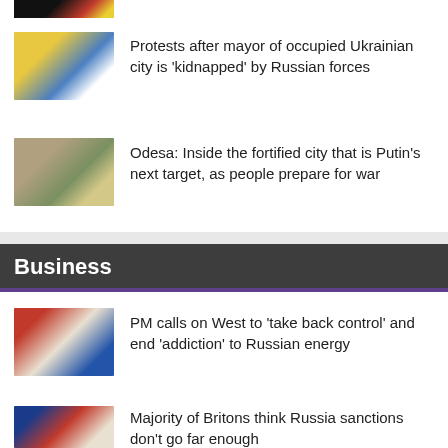[Figure (photo): Partial thumbnail of a news image at the top of the page]
[Figure (photo): Portrait of a young man in a white embroidered shirt against yellow and blue background]
Protests after mayor of occupied Ukrainian city is 'kidnapped' by Russian forces
[Figure (photo): People in dark clothing in what appears to be a fortified outdoor scene]
Odesa: Inside the fortified city that is Putin’s next target, as people prepare for war
Business
[Figure (photo): Man in suit at what appears to be a press conference with flags in background]
PM calls on West to ‘take back control’ and end ‘addiction’ to Russian energy
[Figure (photo): People with EU and other flags in background]
Majority of Britons think Russia sanctions don’t go far enough